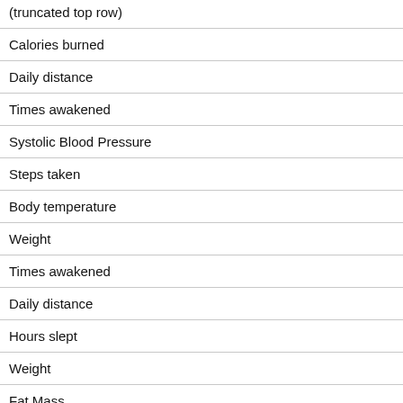| Calories burned |
| Daily distance |
| Times awakened |
| Systolic Blood Pressure |
| Steps taken |
| Body temperature |
| Weight |
| Times awakened |
| Daily distance |
| Hours slept |
| Weight |
| Fat Mass |
| Steps taken |
| Calories burned |
| Calories burned |